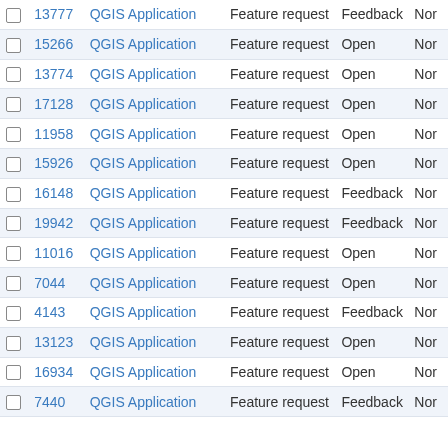|  | # | Project | Type | Status |  |
| --- | --- | --- | --- | --- | --- |
| ☐ | 13777 | QGIS Application | Feature request | Feedback | Nor |
| ☐ | 15266 | QGIS Application | Feature request | Open | Nor |
| ☐ | 13774 | QGIS Application | Feature request | Open | Nor |
| ☐ | 17128 | QGIS Application | Feature request | Open | Nor |
| ☐ | 11958 | QGIS Application | Feature request | Open | Nor |
| ☐ | 15926 | QGIS Application | Feature request | Open | Nor |
| ☐ | 16148 | QGIS Application | Feature request | Feedback | Nor |
| ☐ | 19942 | QGIS Application | Feature request | Feedback | Nor |
| ☐ | 11016 | QGIS Application | Feature request | Open | Nor |
| ☐ | 7044 | QGIS Application | Feature request | Open | Nor |
| ☐ | 4143 | QGIS Application | Feature request | Feedback | Nor |
| ☐ | 13123 | QGIS Application | Feature request | Open | Nor |
| ☐ | 16934 | QGIS Application | Feature request | Open | Nor |
| ☐ | 7440 | QGIS Application | Feature request | Feedback | Nor |